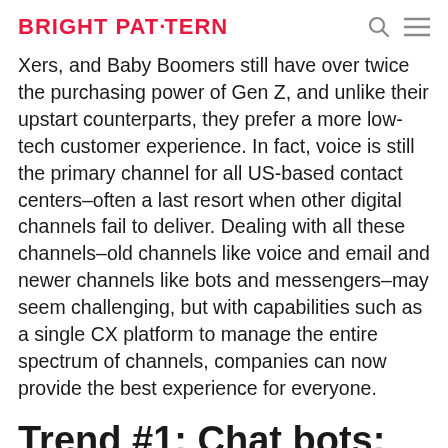BRIGHT PAT·TERN
Xers, and Baby Boomers still have over twice the purchasing power of Gen Z, and unlike their upstart counterparts, they prefer a more low-tech customer experience. In fact, voice is still the primary channel for all US-based contact centers–often a last resort when other digital channels fail to deliver. Dealing with all these channels–old channels like voice and email and newer channels like bots and messengers–may seem challenging, but with capabilities such as a single CX platform to manage the entire spectrum of channels, companies can now provide the best experience for everyone.
Trend #1: Chat bots: Cut...